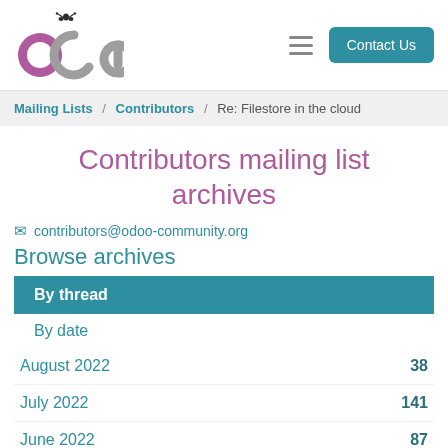OCA logo | hamburger menu | Contact Us
Mailing Lists / Contributors / Re: Filestore in the cloud
Contributors mailing list archives
contributors@odoo-community.org
Browse archives
By thread
By date
August 2022   38
July 2022   141
June 2022   87